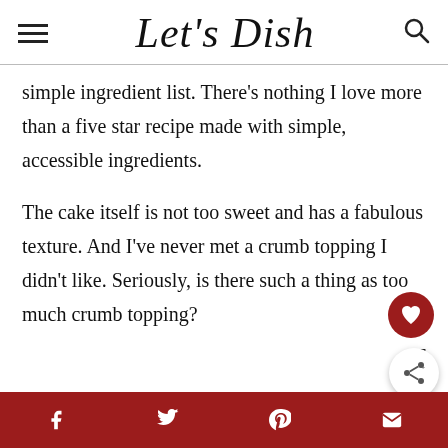Let's Dish
simple ingredient list. There's nothing I love more than a five star recipe made with simple, accessible ingredients.
The cake itself is not too sweet and has a fabulous texture. And I've never met a crumb topping I didn't like. Seriously, is there such a thing as too much crumb topping?
Social share bar